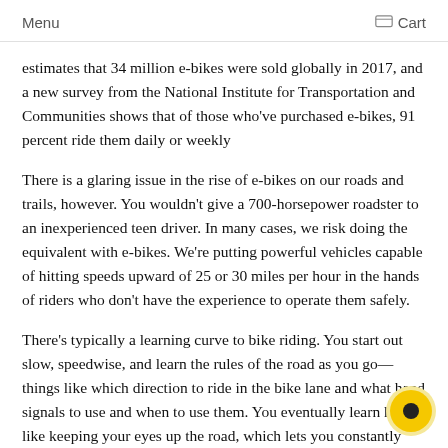Menu   Cart
estimates that 34 million e-bikes were sold globally in 2017, and a new survey from the National Institute for Transportation and Communities shows that of those who've purchased e-bikes, 91 percent ride them daily or weekly
There is a glaring issue in the rise of e-bikes on our roads and trails, however. You wouldn't give a 700-horsepower roadster to an inexperienced teen driver. In many cases, we risk doing the equivalent with e-bikes. We're putting powerful vehicles capable of hitting speeds upward of 25 or 30 miles per hour in the hands of riders who don't have the experience to operate them safely.
There's typically a learning curve to bike riding. You start out slow, speedwise, and learn the rules of the road as you go—things like which direction to ride in the bike lane and what hand signals to use and when to use them. You eventually learn habits like keeping your eyes up the road, which lets you constantly sca obstacles that may impede your way.